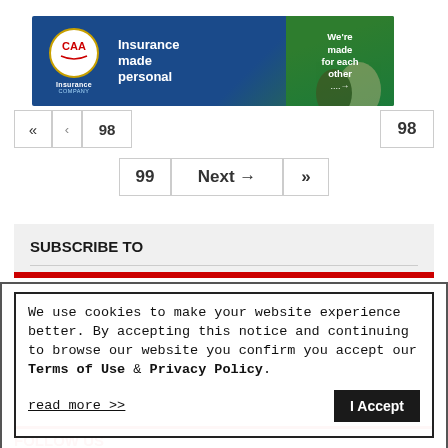[Figure (illustration): CAA Insurance Company advertisement banner: dark blue and green background. CAA logo (red letters in white circle with gold border) on left. Center text reads 'Insurance made personal' in bold white. Right side green panel reads 'We're made for each other ....→' with illustrated people faces.]
«  ...  98
99  Next →  »
SUBSCRIBE TO
We use cookies to make your website experience better. By accepting this notice and continuing to browse our website you confirm you accept our Terms of Use & Privacy Policy.

read more >>    I Accept
FOLLOW US